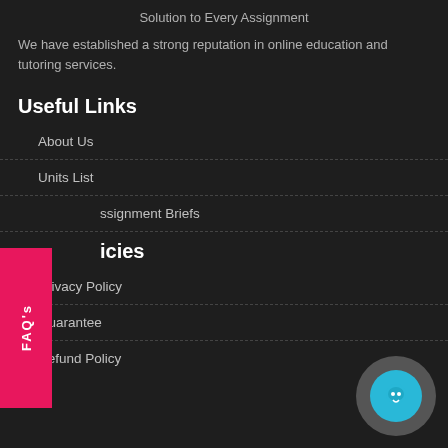Solution to Every Assignment
We have established a strong reputation in online education and tutoring services.
Useful Links
About Us
Units List
Assignment Briefs
Policies
Privacy Policy
Guarantee
Refund Policy